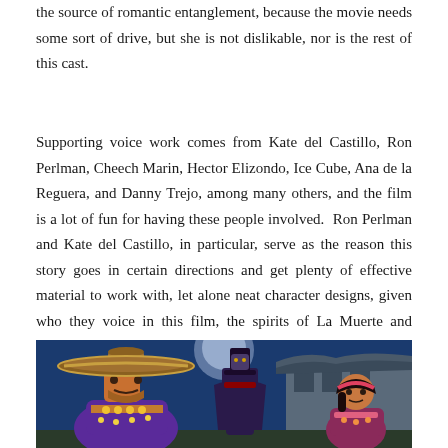the source of romantic entanglement, because the movie needs some sort of drive, but she is not dislikable, nor is the rest of this cast.
Supporting voice work comes from Kate del Castillo, Ron Perlman, Cheech Marin, Hector Elizondo, Ice Cube, Ana de la Reguera, and Danny Trejo, among many others, and the film is a lot of fun for having these people involved.  Ron Perlman and Kate del Castillo, in particular, serve as the reason this story goes in certain directions and get plenty of effective material to work with, let alone neat character designs, given who they voice in this film, the spirits of La Muerte and Xibalba.
[Figure (photo): Animated movie still showing colorful characters from The Book of Life, including a large mariachi-styled character with a wide sombrero on the left, a tall dark figure in the center background, and a female character on the right, set against a blue night sky with a building in the background.]